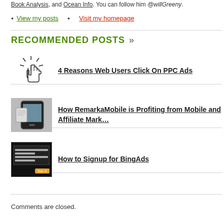Book Analysis, and Ocean Info. You can follow him @willGreeny.
View my posts
Visit my homepage
RECOMMENDED POSTS »
[Figure (illustration): Clicking hand cursor icon with sparkle lines]
4 Reasons Web Users Click On PPC Ads
[Figure (photo): Mobile phone / smartphone image]
How RemarkaMobile is Profiting from Mobile and Affiliate Marketing
[Figure (screenshot): BingAds signup form screenshot with dark background]
How to Signup for BingAds
Comments are closed.